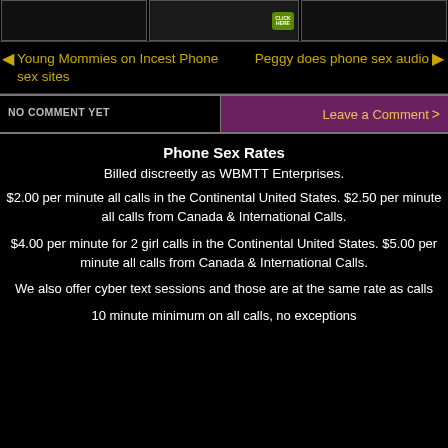[Figure (photo): Three image boxes at top of page, middle one shows a partial photo with a green 'Click Here' button]
◄ Young Mommies on Incest Phone sex sites
Peggy does phone sex audio ►
NO COMMENT YET
Leave a Comment  >
Phone Sex Rates
Billed discreetly as WBMTT Enterprises.
$2.00 per minute all calls in the Continental United States. $2.50 per minute all calls from Canada & International Calls.
$4.00 per minute for 2 girl calls in the Continental United States. $5.00 per minute all calls from Canada & International Calls.
We also offer cyber text sessions and those are at the same rate as calls
10 minute minimum on all calls, no exceptions